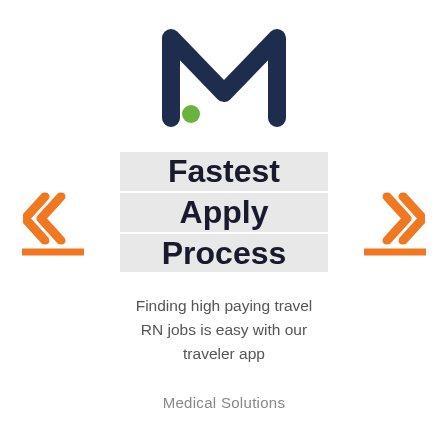[Figure (logo): Medical Solutions stylized M logo in dark navy blue with a green dot at the lower left of the M]
Fastest Apply Process
Finding high paying travel RN jobs is easy with our traveler app
Medical Solutions